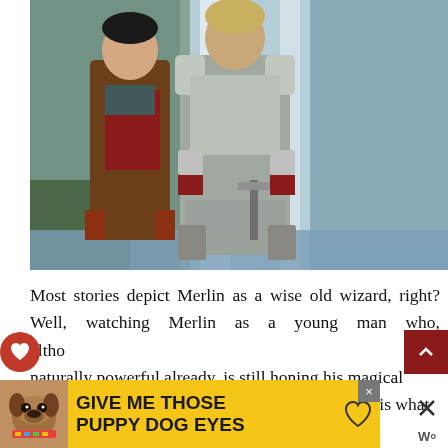[Figure (photo): Two actors from BBC's Merlin TV show standing in front of a waterfall. Left figure is a young man in brown leather jacket with a red scarf, right figure is wearing full chainmail and plate armor knight costume.]
Most stories depict Merlin as a wise old wizard, right? Well, watching Merlin as a young man who, although naturally powerful already, is still honing his magical and coming to terms with his destiny, is what made BBC One’s Merlin such a huge success.
[Figure (infographic): Advertisement banner at bottom reading GIVE ME THOSE PUPPY DOG EYES with a dog image on left and yellow background.]